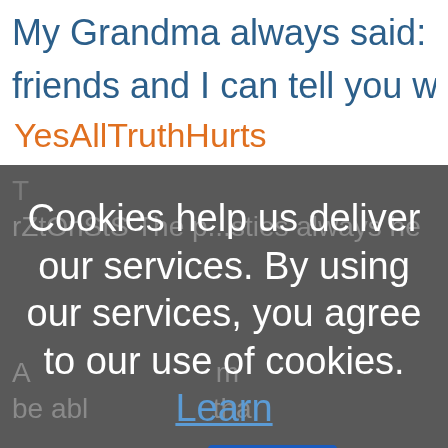My Grandma always said: "Show m friends and I can tell you who you a
YesAllTruthHurts
Cookies help us deliver our services. By using our services, you agree to our use of cookies. Learn more
OK